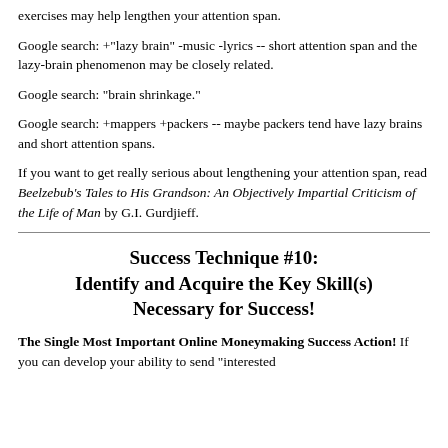exercises may help lengthen your attention span.
Google search: +"lazy brain" -music -lyrics -- short attention span and the lazy-brain phenomenon may be closely related.
Google search: "brain shrinkage."
Google search: +mappers +packers -- maybe packers tend have lazy brains and short attention spans.
If you want to get really serious about lengthening your attention span, read Beelzebub's Tales to His Grandson: An Objectively Impartial Criticism of the Life of Man by G.I. Gurdjieff.
Success Technique #10:
Identify and Acquire the Key Skill(s) Necessary for Success!
The Single Most Important Online Moneymaking Success Action! If you can develop your ability to send "interested